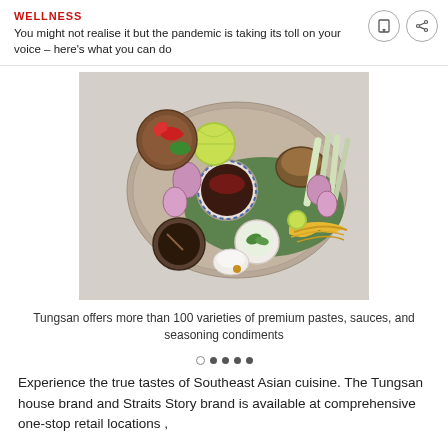WELLNESS
You might not realise it but the pandemic is taking its toll on your voice – here's what you can do
[Figure (photo): Overhead shot of Southeast Asian food ingredients and condiments on a decorative tray: chili peppers, limes, shallots, lemongrass, a bowl of dark paste with chili oil, a bowl of brown paste, a bowl of cut green chilies, yellow noodles, and a small white ramekin.]
Tungsan offers more than 100 varieties of premium pastes, sauces, and seasoning condiments
Experience the true tastes of Southeast Asian cuisine. The Tungsan house brand and Straits Story brand is available at comprehensive one-stop retail locations ,